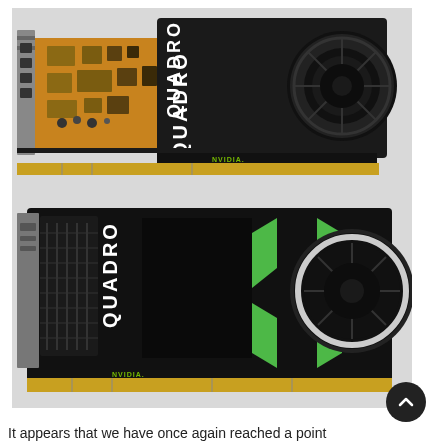[Figure (photo): Two NVIDIA Quadro GPU graphics cards shown from above. Top card is a smaller form-factor Quadro with exposed PCB, gold edge connector, four DisplayPort ports on the bracket, and a black heatsink with circular fan. Bottom card is a larger full-size NVIDIA Quadro with black shroud, green X logo, large circular fan with white ring, and gold edge connector.]
It appears that we have once again reached a point